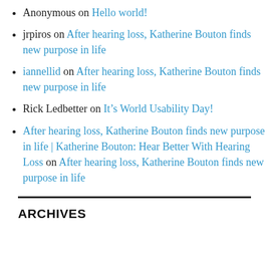Anonymous on Hello world!
jrpiros on After hearing loss, Katherine Bouton finds new purpose in life
iannellid on After hearing loss, Katherine Bouton finds new purpose in life
Rick Ledbetter on It’s World Usability Day!
After hearing loss, Katherine Bouton finds new purpose in life | Katherine Bouton: Hear Better With Hearing Loss on After hearing loss, Katherine Bouton finds new purpose in life
ARCHIVES